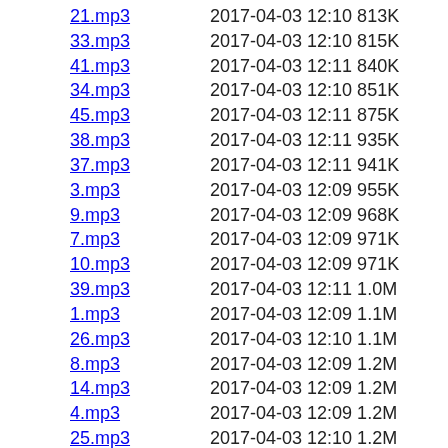21.mp3   2017-04-03 12:10 813K
33.mp3   2017-04-03 12:10 815K
41.mp3   2017-04-03 12:11 840K
34.mp3   2017-04-03 12:10 851K
45.mp3   2017-04-03 12:11 875K
38.mp3   2017-04-03 12:11 935K
37.mp3   2017-04-03 12:11 941K
3.mp3    2017-04-03 12:09 955K
9.mp3    2017-04-03 12:09 968K
7.mp3    2017-04-03 12:09 971K
10.mp3   2017-04-03 12:09 971K
39.mp3   2017-04-03 12:11 1.0M
1.mp3    2017-04-03 12:09 1.1M
26.mp3   2017-04-03 12:10 1.1M
8.mp3    2017-04-03 12:09 1.2M
14.mp3   2017-04-03 12:09 1.2M
4.mp3    2017-04-03 12:09 1.2M
25.mp3   2017-04-03 12:10 1.2M
24.mp3   2017-04-03 12:10 1.2M
23.mp3   2017-04-03 12:10 1.3M
11.mp3   2017-04-03 12:09 1.4M